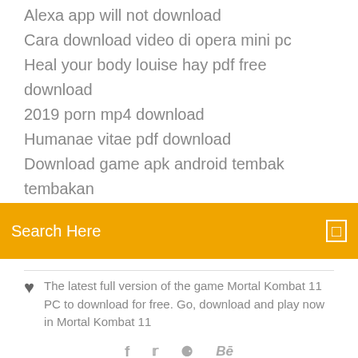Alexa app will not download
Cara download video di opera mini pc
Heal your body louise hay pdf free download
2019 porn mp4 download
Humanae vitae pdf download
Download game apk android tembak tembakan
[Figure (screenshot): Orange search bar with 'Search Here' placeholder text and a search icon on the right]
The latest full version of the game Mortal Kombat 11 PC to download for free. Go, download and play now in Mortal Kombat 11
[Figure (infographic): Social media icons: Facebook, Twitter, a circle icon, and Behance]
Скачать Мортал Комбат 9 торрент бесплатно можно у нас. Mortal Kombat 9 — девятая по счету